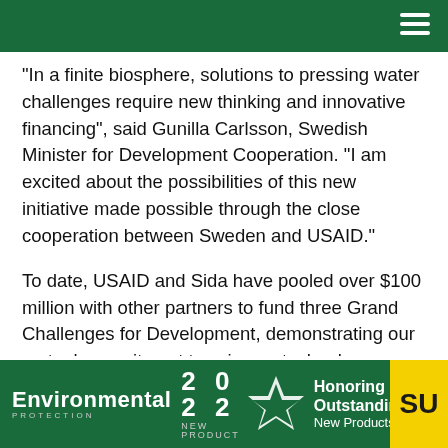“In a finite biosphere, solutions to pressing water challenges require new thinking and innovative financing”, said Gunilla Carlsson, Swedish Minister for Development Cooperation. “I am excited about the possibilities of this new initiative made possible through the close cooperation between Sweden and USAID.”
To date, USAID and Sida have pooled over $100 million with other partners to fund three Grand Challenges for Development, demonstrating our mutual commitment to science, technology, innovation, and entrepreneurship. Learn more about the Grand Challenges for Development program at www.usaid.gov/grandchallenges .
[Figure (logo): Environmental Protection 2022 New Product award banner with star logo and Honoring Outstanding New Products text, yellow SU badge on right]